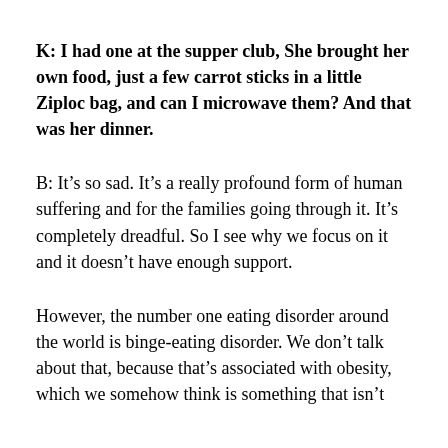K: I had one at the supper club, She brought her own food, just a few carrot sticks in a little Ziploc bag, and can I microwave them? And that was her dinner.
B: It’s so sad. It’s a really profound form of human suffering and for the families going through it. It’s completely dreadful. So I see why we focus on it and it doesn’t have enough support.
However, the number one eating disorder around the world is binge-eating disorder. We don’t talk about that, because that’s associated with obesity, which we somehow think is something that isn’t